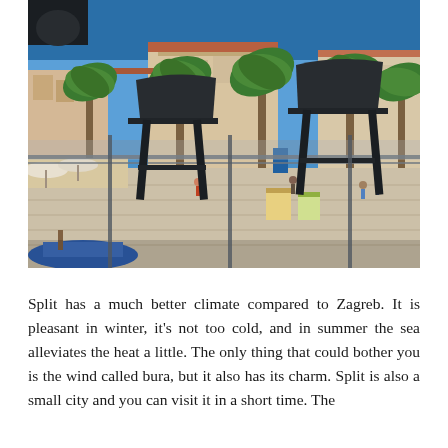[Figure (photo): View from a balcony or terrace overlooking a Mediterranean coastal city (Split, Croatia). In the foreground are black bar stools and a railing. Below is a busy promenade with people, umbrellas, and market stalls. Behind the promenade are tall palm trees, historic stone buildings with orange rooftops, and a bright blue summer sky. A small boat is visible on the lower left.]
Split has a much better climate compared to Zagreb. It is pleasant in winter, it's not too cold, and in summer the sea alleviates the heat a little. The only thing that could bother you is the wind called bura, but it also has its charm. Split is also a small city and you can visit it in a short time. The